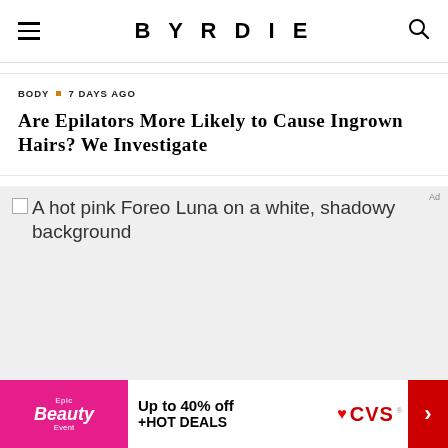BYRDIE
BODY · 7 DAYS AGO
Are Epilators More Likely to Cause Ingrown Hairs? We Investigate
[Figure (photo): A hot pink Foreo Luna on a white, shadowy background — broken image placeholder shown]
Ad
Epic Beauty Event — Up to 40% off +HOT DEALS — CVS